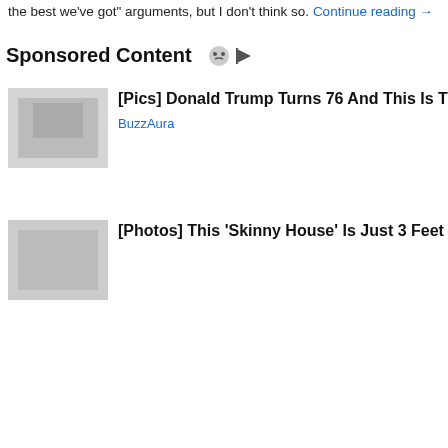the best we've got" arguments, but I don't think so. Continue reading →
Sponsored Content
[Pics] Donald Trump Turns 76 And This Is The House He Lives In
BuzzAura
[Photos] This 'Skinny House' Is Just 3 Feet Wide, But Wait Till…
HaroldTap on The Democratic Winter Forum: T…
Mick on America Has NO Political Parti…
Steve Herzfeld on America Has NO Political Parti…
Privacy & Cookies: This site uses cookies. By continuing to use this website, you agree to their use.
To find out more, including how to control cookies, see here: Cookie Policy
Close and accept